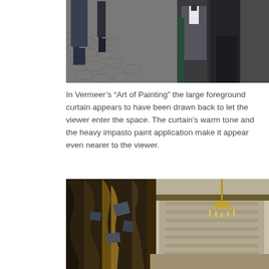[Figure (photo): A detail from a painting showing people walking on a cobblestone street in the rain, wearing dark coats and suits, viewed from close up.]
In Vermeer’s “Art of Painting” the large foreground curtain appears to have been drawn back to let the viewer enter the space. The curtain’s warm tone and the heavy impasto paint application make it appear even nearer to the viewer.
[Figure (photo): A detail from Vermeer’s “Art of Painting” showing a large draped curtain in the left foreground with golden-yellow and dark blue-grey tones, and in the background a chandelier and a large map or painting on the wall of a studio interior.]